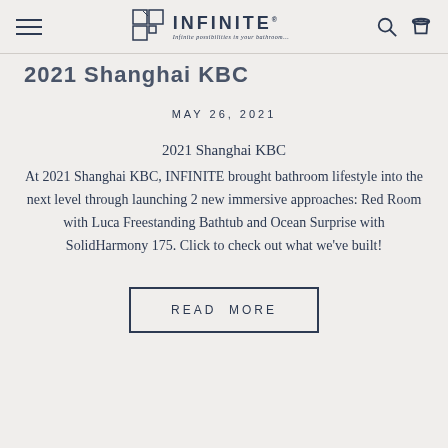INFINITE — Infinite possibilities in your bathroom...
2021 Shanghai KBC
MAY 26, 2021
2021 Shanghai KBC
At 2021 Shanghai KBC, INFINITE brought bathroom lifestyle into the next level through launching 2 new immersive approaches: Red Room with Luca Freestanding Bathtub and Ocean Surprise with SolidHarmony 175. Click to check out what we've built!
READ MORE